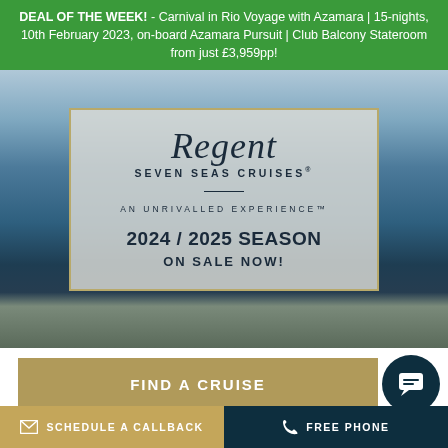DEAL OF THE WEEK! - Carnival in Rio Voyage with Azamara | 15-nights, 10th February 2023, on-board Azamara Pursuit | Club Balcony Stateroom from just £3,959pp!
[Figure (photo): Hero image of cruise ship deck with ocean view, overlaid with Regent Seven Seas Cruises logo box showing '2024 / 2025 SEASON ON SALE NOW!']
FIND A CRUISE
SCHEDULE A CALLBACK
FREE PHONE